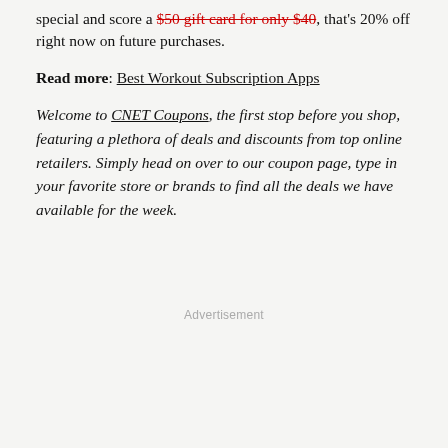special and score a $50 gift card for only $40, that's 20% off right now on future purchases.
Read more: Best Workout Subscription Apps
Welcome to CNET Coupons, the first stop before you shop, featuring a plethora of deals and discounts from top online retailers. Simply head on over to our coupon page, type in your favorite store or brands to find all the deals we have available for the week.
Advertisement